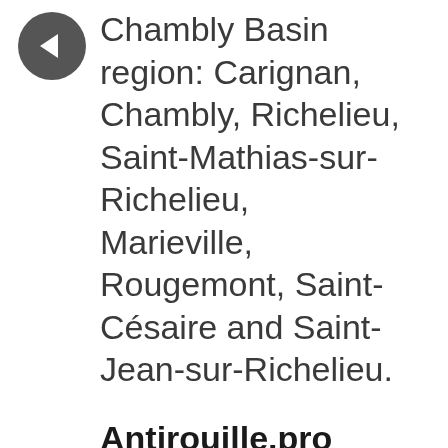Chambly Basin region: Carignan, Chambly, Richelieu, Saint-Mathias-sur-Richelieu, Marieville, Rougemont, Saint-Césaire and Saint-Jean-sur-Richelieu.
Antirouille.pro
Our team uses Bio-Progard permanent biological rust remover which is an environmentally friendly organic product. This product has several properties which make it very efficient against corrosion while being